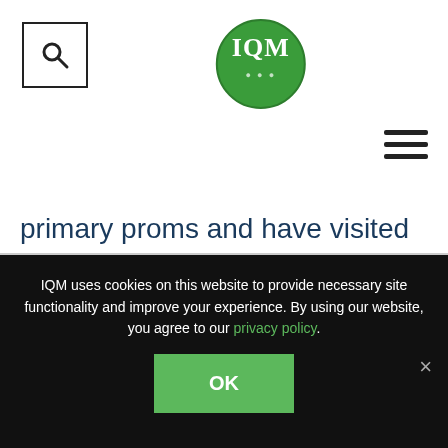[Figure (logo): IQM green circular logo with white text 'IQM' in the center]
primary proms and have visited a local farm. They go to West Ham Park and have been to Kensington Gardens. Each activity is
IQM uses cookies on this website to provide necessary site functionality and improve your experience. By using our website, you agree to our privacy policy.
OK